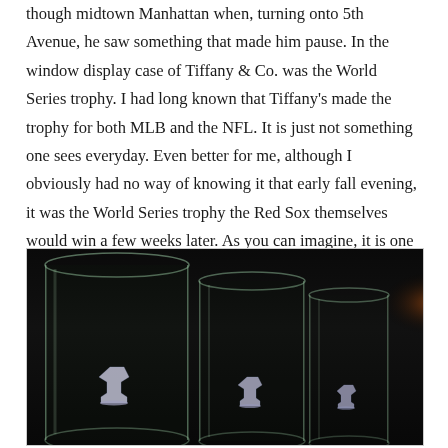though midtown Manhattan when, turning onto 5th Avenue, he saw something that made him pause. In the window display case of Tiffany & Co. was the World Series trophy. I had long known that Tiffany's made the trophy for both MLB and the NFL. It is just not something one sees everyday. Even better for me, although I obviously had no way of knowing it that early fall evening, it was the World Series trophy the Red Sox themselves would win a few weeks later. As you can imagine, it is one of those random events that has stayed with me.
[Figure (photo): Dark photograph showing three glass cylinder display cases of varying heights containing what appear to be Vince Lombardi (Super Bowl) trophies, photographed against a dark background with an amber/orange glow in the upper right.]